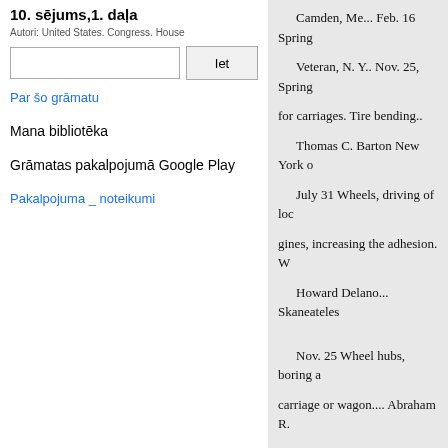10. sējums,1. daļa
Autori: United States. Congress. House
Iet
Par šo grāmatu
Mana bibliotēka
Grāmatas pakalpojumā Google Play
Pakalpojuma _ noteikumi
Camden, Me... Feb. 16 Spring
Veteran, N. Y.. Nov. 25, Spring
for carriages. Tire bending..
Thomas C. Barton New York o
July 31 Wheels, driving of loc
gines, increasing the adhesion. W
Howard Delano... Skaneateles
Nov. 25 Wheel hubs, boring a carriage or wagon.... Abraham R.
Sept. 8 Wheels of locomotives inclined planes.
Class XI.—Hydraulics and pneu mills, and other implements oper
Inventions or discoveries.